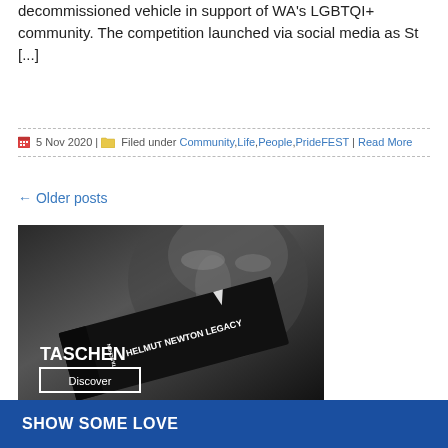decommissioned vehicle in support of WA's LGBTQI+ community. The competition launched via social media as St [...]
5 Nov 2020 | Filed under Community, Life, People, PrideFEST | Read More
← Older posts
[Figure (photo): Black and white photo of a book titled 'Helmut Newton Legacy' published by TASCHEN, with a close-up face on the cover, and a 'Discover' button overlay]
SHOW SOME LOVE